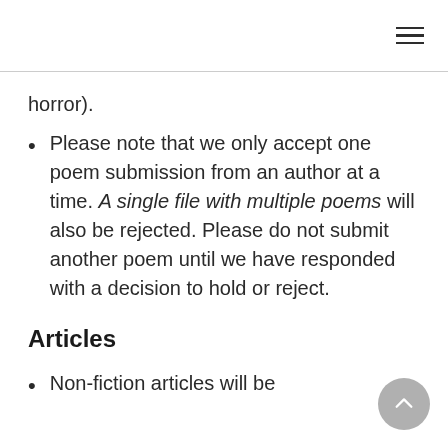≡
horror).
Please note that we only accept one poem submission from an author at a time. A single file with multiple poems will also be rejected. Please do not submit another poem until we have responded with a decision to hold or reject.
Articles
Non-fiction articles will be considered, as this space...